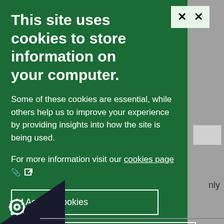This site uses cookies to store information on your computer.
Some of these cookies are essential, while others help us to improve your experience by providing insights into how the site is being used.
For more information visit our cookies page [external link icon]
I Accept Cookies
I Do Not Accept Cookies